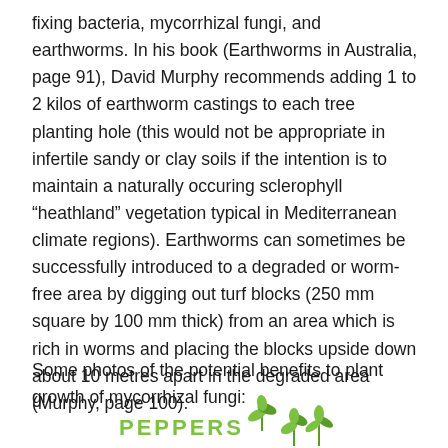fixing bacteria, mycorrhizal fungi, and earthworms. In his book (Earthworms in Australia, page 91), David Murphy recommends adding 1 to 2 kilos of earthworm castings to each tree planting hole (this would not be appropriate in infertile sandy or clay soils if the intention is to maintain a naturally occuring sclerophyll “heapthland” vegetation typical in Mediterranean climate regions). Earthworms can sometimes be successfully introduced to a degraded or worm-free area by digging out turf blocks (250 mm square by 100 mm thick) from an area which is rich in worms and placing the blocks upside down about 10 metres apart in the degraded area (Murphy, page 100).
Some photos of the potential benefits to plant growth of mycorrhizal fungi:
[Figure (logo): Peppers logo in green with plant/leaf imagery]